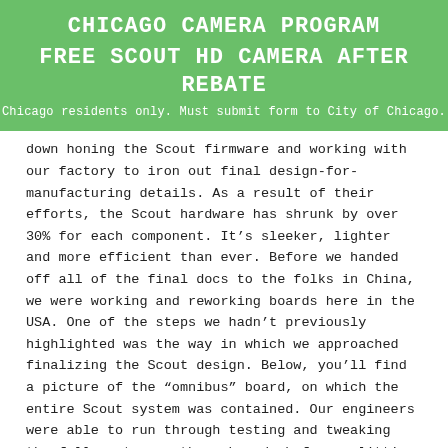CHICAGO CAMERA PROGRAM
FREE SCOUT HD CAMERA AFTER REBATE
Chicago residents only. Must submit form to City of Chicago.
down honing the Scout firmware and working with our factory to iron out final design-for-manufacturing details. As a result of their efforts, the Scout hardware has shrunk by over 30% for each component. It’s sleeker, lighter and more efficient than ever. Before we handed off all of the final docs to the folks in China, we were working and reworking boards here in the USA. One of the steps we hadn’t previously highlighted was the way in which we approached finalizing the Scout design. Below, you’ll find a picture of the “omnibus” board, on which the entire Scout system was contained. Our engineers were able to run through testing and tweaking the full system on these boards before splitting them off into the boards for each individual component. Though we’ve moved on from these boards, it’s pretty cool to see all of Scout on one board.